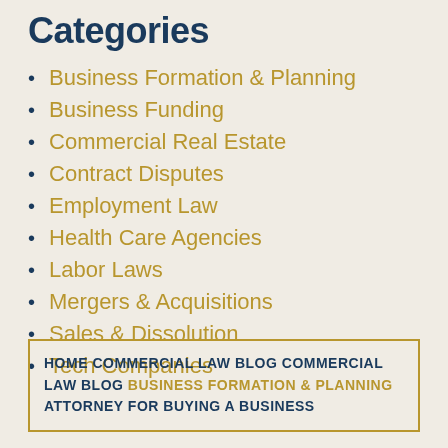Categories
Business Formation & Planning
Business Funding
Commercial Real Estate
Contract Disputes
Employment Law
Health Care Agencies
Labor Laws
Mergers & Acquisitions
Sales & Dissolution
Tech Companies
HOME COMMERCIAL LAW BLOG COMMERCIAL LAW BLOG BUSINESS FORMATION & PLANNING ATTORNEY FOR BUYING A BUSINESS